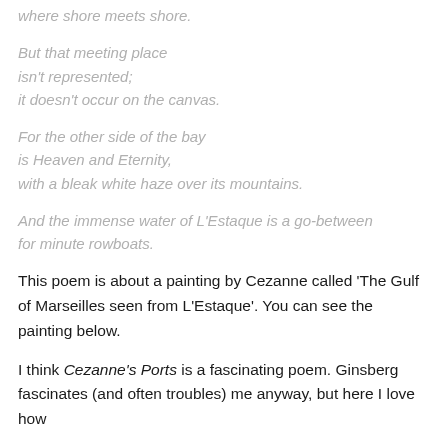where shore meets shore.
But that meeting place
isn't represented;
it doesn't occur on the canvas.
For the other side of the bay
is Heaven and Eternity,
with a bleak white haze over its mountains.
And the immense water of L'Estaque is a go-between
for minute rowboats.
This poem is about a painting by Cezanne called 'The Gulf of Marseilles seen from L'Estaque'. You can see the painting below.
I think Cezanne's Ports is a fascinating poem. Ginsberg fascinates (and often troubles) me anyway, but here I love how